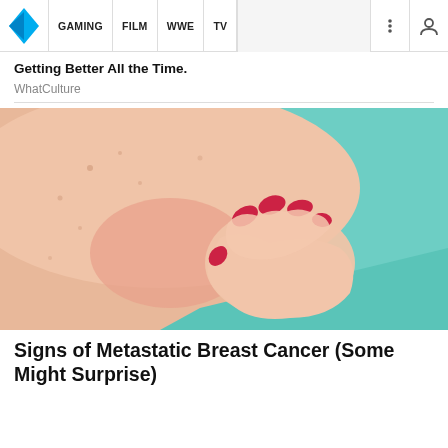GAMING | FILM | WWE | TV
Getting Better All the Time.
WhatCulture
[Figure (photo): Close-up photo of a woman in a teal top touching her chest/breast area with her hand, showing reddened skin, red-painted fingernails.]
Signs of Metastatic Breast Cancer (Some Might Surprise)